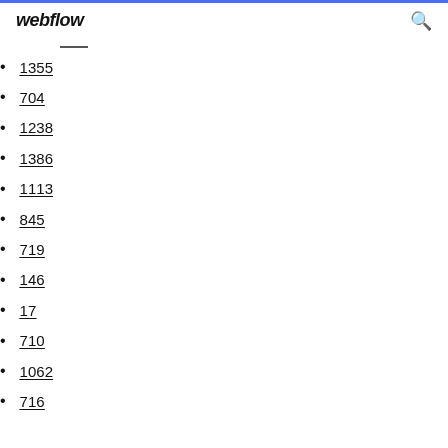webflow
1355
704
1238
1386
1113
845
719
146
17
710
1062
716